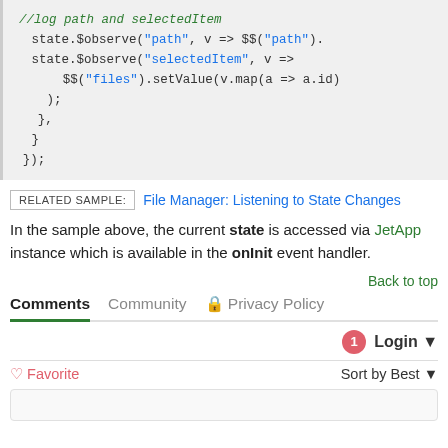[Figure (screenshot): Code block showing JavaScript with state.$observe calls for 'path' and 'selectedItem', ending with closing braces and });]
RELATED SAMPLE: File Manager: Listening to State Changes
In the sample above, the current state is accessed via JetApp instance which is available in the onInit event handler.
Back to top
Comments  Community  Privacy Policy
1  Login
Favorite  Sort by Best